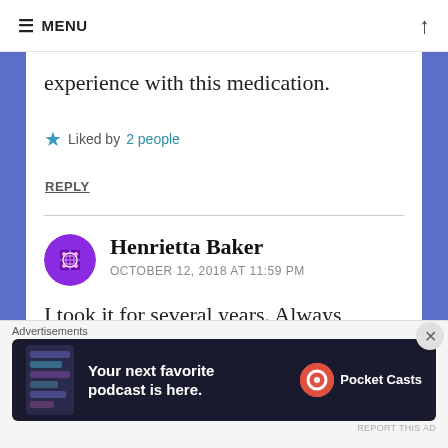≡ MENU
experience with this medication.
★ Liked by 2 people
REPLY
Henrietta Baker
OCTOBER 12, 2018 AT 11:59 PM
I took it for several years. Always
[Figure (other): Pocket Casts advertisement banner: Your next favorite podcast is here.]